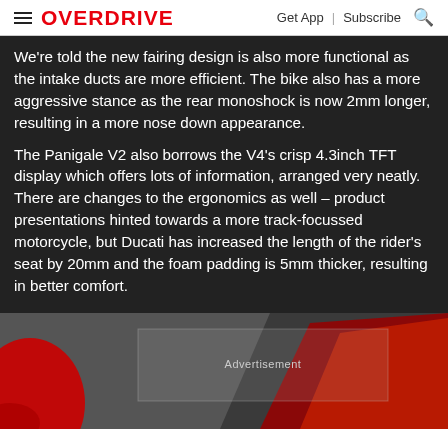OVERDRIVE | Get App | Subscribe
We're told the new fairing design is also more functional as the intake ducts are more efficient. The bike also has a more aggressive stance as the rear monoshock is now 2mm longer, resulting in a more nose down appearance.
The Panigale V2 also borrows the V4's crisp 4.3inch TFT display which offers lots of information, arranged very neatly. There are changes to the ergonomics as well – product presentations hinted towards a more track-focussed motorcycle, but Ducati has increased the length of the rider's seat by 20mm and the foam padding is 5mm thicker, resulting in better comfort.
[Figure (photo): Partial view of a Ducati Panigale motorcycle in red with an advertisement overlay box in the center of the image area.]